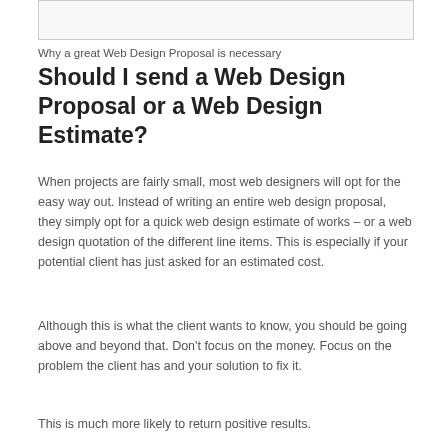[Figure (other): Placeholder image box at top of page]
Why a great Web Design Proposal is necessary
Should I send a Web Design Proposal or a Web Design Estimate?
When projects are fairly small, most web designers will opt for the easy way out. Instead of writing an entire web design proposal, they simply opt for a quick web design estimate of works – or a web design quotation of the different line items. This is especially if your potential client has just asked for an estimated cost.
Although this is what the client wants to know, you should be going above and beyond that. Don't focus on the money. Focus on the problem the client has and your solution to fix it.
This is much more likely to return positive results.